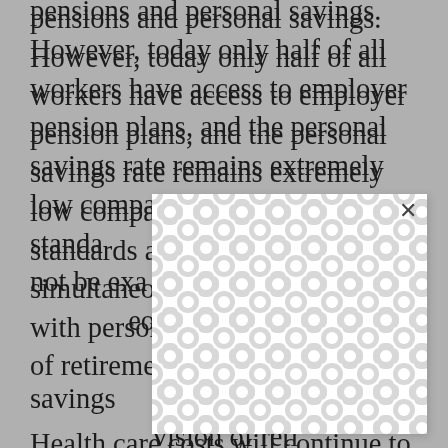pensions and personal savings. However, today only half of all workers have access to employer pension plans, and the personal savings rate remains extremely low compared to historical standards. Social Security should not be examined separately but simultaneously discussed along with pensions and personal savings given Social Security's crucial provision of retirement income security.

Health care costs will continue to mount as the social contract erodes and as advanced technology allows people to live longer, seniors will need more money to manage chronic and long-term care needs. The irony of our current system is that we have far more coverage for unexpected, acute health care needs, yet
[Figure (other): A white modal dialog box with a decorative pattern of interlocking circles/shapes in light gray, overlaying part of the text content. An X close button is visible in the upper right of the modal.]